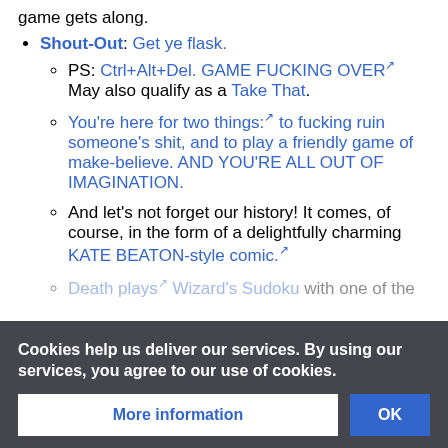game gets along.
Shout-Out: Get ye flask.
PS: Ctrl+Alt+Del. GAME FUCKING OVER [ext] May also qualify as a Take That.
You're here for two things: [ext] to fucking ruin someone's shit, and to play a friendly game of make-believe. AND YOU'RE ALL OUT OF IMAGINATION.
And let's not forget our history! It comes, of course, in the form of a delightfully charming KATE BEATON-style comic. [ext]
Death plays [ext] Wizard's Sudoku with one of the characters.
Summon Mo...
One of the saying's tropes is Dinosaur Comics' T...
Cookies help us deliver our services. By using our services, you agree to our use of cookies.
More information | OK